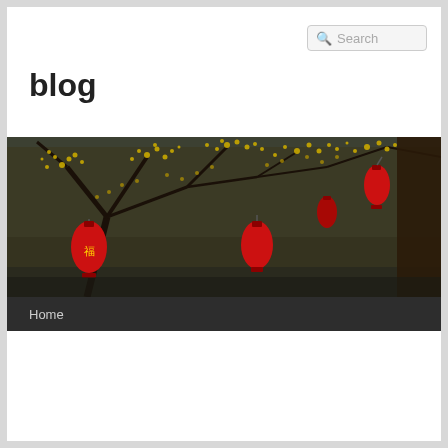Search
blog
[Figure (photo): Photo of tree branches with yellow blossoms and red Chinese lanterns hanging from the branches, dark background]
Home
← Previous   Next →
Property Managers